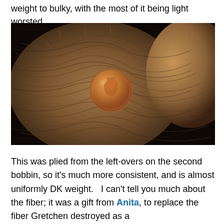weight to bulky, with the most of it being light worsted.
[Figure (photo): Close-up macro photograph of a ball of handspun brown/tan yarn with a US penny coin placed against it to show scale. The yarn is tightly wound and has a textured, fibrous surface.]
This was plied from the left-overs on the second bobbin, so it's much more consistent, and is almost uniformly DK weight.   I can't tell you much about the fiber; it was a gift from Anita, to replace the fiber Gretchen destroyed as a